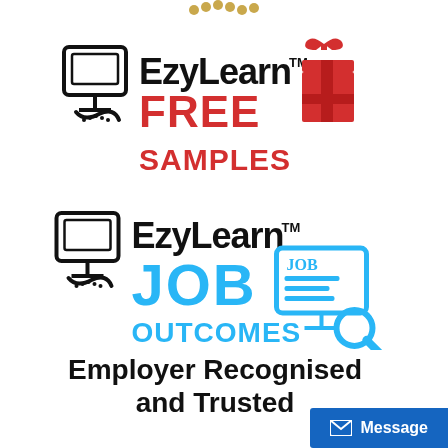[Figure (logo): EzyLearn logo with FREE SAMPLES text in red and gift box icon]
[Figure (logo): EzyLearn logo with JOB OUTCOMES text in blue and job search icon]
Employer Recognised and Trusted
[Figure (other): Message button overlay in bottom right]